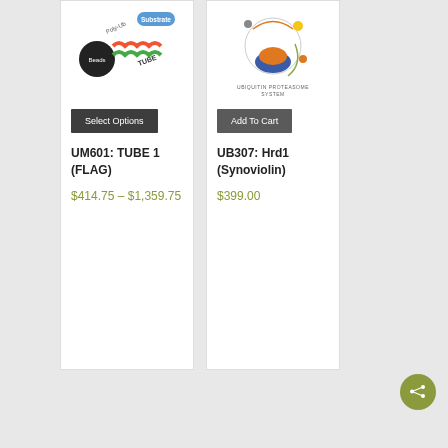[Figure (illustration): TUBE 1 product diagram: beads labeled poly-Ub and TUBE with substrate tag on top]
Select Options
UM601: TUBE 1 (FLAG)
$414.75 – $1,359.75
[Figure (illustration): Ubiquitin Proteasome System diagram with circular pathway arrows and colored protein complexes]
Add To Cart
UB307: Hrd1 (Synoviolin)
$399.00